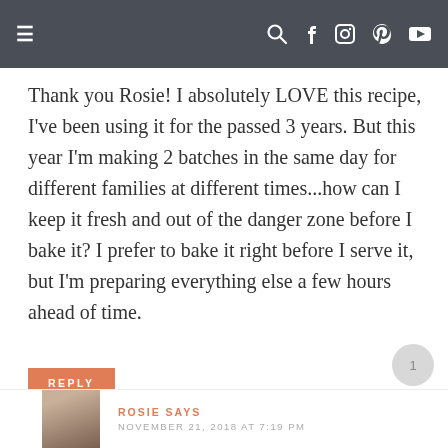≡  🔍 f 📷 𝗣 ▶
Thank you Rosie! I absolutely LOVE this recipe, I've been using it for the passed 3 years. But this year I'm making 2 batches in the same day for different families at different times...how can I keep it fresh and out of the danger zone before I bake it? I prefer to bake it right before I serve it, but I'm preparing everything else a few hours ahead of time.
REPLY
ROSIE SAYS
NOVEMBER 21, 2018 AT 7:19 PM